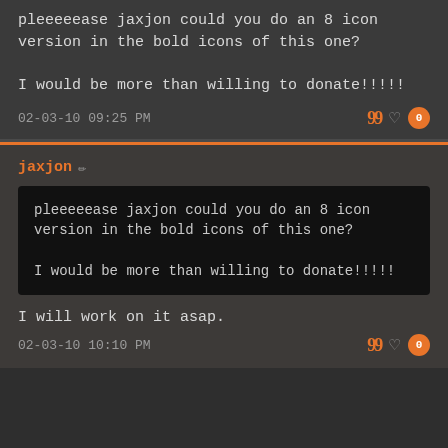pleeeeease jaxjon could you do an 8 icon version in the bold icons of this one?

I would be more than willing to donate!!!!!
02-03-10 09:25 PM
jaxjon
pleeeeease jaxjon could you do an 8 icon version in the bold icons of this one?

I would be more than willing to donate!!!!!
I will work on it asap.
02-03-10 10:10 PM